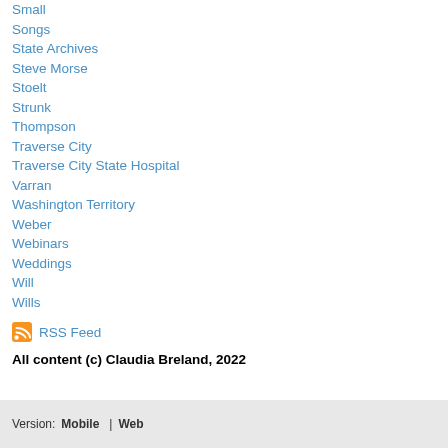Small
Songs
State Archives
Steve Morse
Stoelt
Strunk
Thompson
Traverse City
Traverse City State Hospital
Varran
Washington Territory
Weber
Webinars
Weddings
Will
Wills
RSS Feed
All content (c) Claudia Breland, 2022
Version: Mobile | Web